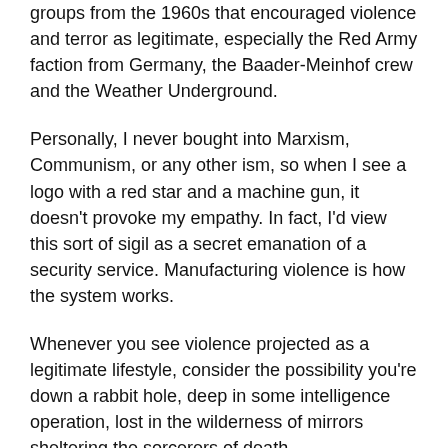groups from the 1960s that encouraged violence and terror as legitimate, especially the Red Army faction from Germany, the Baader-Meinhof crew and the Weather Underground.
Personally, I never bought into Marxism, Communism, or any other ism, so when I see a logo with a red star and a machine gun, it doesn't provoke my empathy. In fact, I'd view this sort of sigil as a secret emanation of a security service. Manufacturing violence is how the system works.
Whenever you see violence projected as a legitimate lifestyle, consider the possibility you're down a rabbit hole, deep in some intelligence operation, lost in the wilderness of mirrors sheltering the sorcerers of death.
My favorite German radical from the sixties is Bommi Baumann, who turned away from violence after realizing